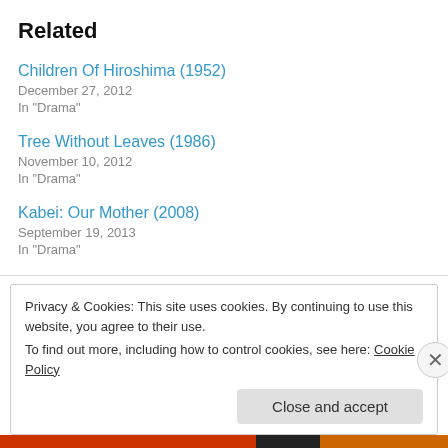Related
Children Of Hiroshima (1952)
December 27, 2012
In "Drama"
Tree Without Leaves (1986)
November 10, 2012
In "Drama"
Kabei: Our Mother (2008)
September 19, 2013
In "Drama"
Privacy & Cookies: This site uses cookies. By continuing to use this website, you agree to their use.
To find out more, including how to control cookies, see here: Cookie Policy
Close and accept